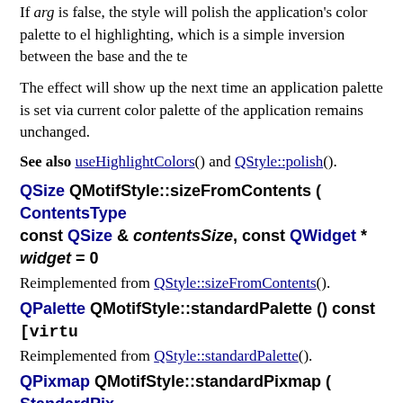If arg is false, the style will polish the application's color palette to eliminate highlighting, which is a simple inversion between the base and the te...
The effect will show up the next time an application palette is set via... current color palette of the application remains unchanged.
See also useHighlightColors() and QStyle::polish().
QSize QMotifStyle::sizeFromContents ( ContentsType ..., const QSize & contentsSize, const QWidget * widget = 0
Reimplemented from QStyle::sizeFromContents().
QPalette QMotifStyle::standardPalette () const [virtu...
Reimplemented from QStyle::standardPalette().
QPixmap QMotifStyle::standardPixmap ( StandardPix..., QStyleOption * opt, const QWidget * widget = 0 ) const
Reimplemented from QStyle::standardPixmap().
int QMotifStyle::styleHint ( StyleHint hint, const QStyl..., QWidget * widget = 0, QStyleHintReturn * returnData...